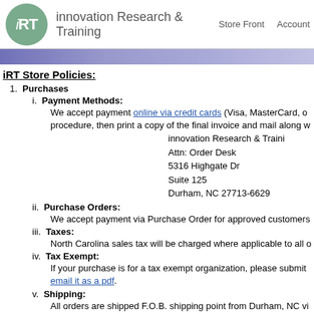iRT innovation Research & Training | Store Front | Account
iRT Store Policies:
1. Purchases
i. Payment Methods:
We accept payment online via credit cards (Visa, MasterCard, o... procedure, then print a copy of the final invoice and mail along w... innovation Research & Training
Attn: Order Desk
5316 Highgate Dr
Suite 125
Durham, NC 27713-6629
ii. Purchase Orders:
We accept payment via Purchase Order for approved customers...
iii. Taxes:
North Carolina sales tax will be charged where applicable to all o...
iv. Tax Exempt:
If your purchase is for a tax exempt organization, please submit... email it as a pdf.
v. Shipping:
All orders are shipped F.O.B. shipping point from Durham, NC vi... will be shipped within 5 business days after the order is processe...
2. Return Policy: